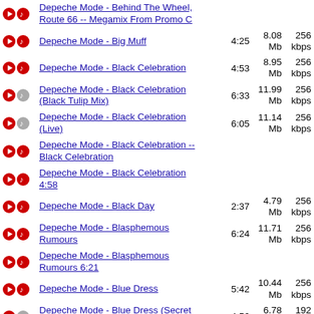Depeche Mode - Behind The Wheel, Route 66 -- Megamix From Promo C
Depeche Mode - Big Muff | 4:25 | 8.08 Mb | 256 kbps
Depeche Mode - Black Celebration | 4:53 | 8.95 Mb | 256 kbps
Depeche Mode - Black Celebration (Black Tulip Mix) | 6:33 | 11.99 Mb | 256 kbps
Depeche Mode - Black Celebration (Live) | 6:05 | 11.14 Mb | 256 kbps
Depeche Mode - Black Celebration -- Black Celebration
Depeche Mode - Black Celebration 4:58
Depeche Mode - Black Day | 2:37 | 4.79 Mb | 256 kbps
Depeche Mode - Blasphemous Rumours | 6:24 | 11.71 Mb | 256 kbps
Depeche Mode - Blasphemous Rumours 6:21
Depeche Mode - Blue Dress | 5:42 | 10.44 Mb | 256 kbps
Depeche Mode - Blue Dress (Secret Mix) | 4:56 | 6.78 Mb | 192 kbps